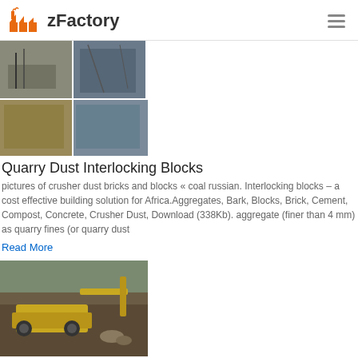zFactory
[Figure (photo): Collage of industrial/factory machinery photos including yellow equipment and steel structures]
Quarry Dust Interlocking Blocks
pictures of crusher dust bricks and blocks « coal russian. Interlocking blocks – a cost effective building solution for Africa.Aggregates, Bark, Blocks, Brick, Cement, Compost, Concrete, Crusher Dust, Download (338Kb). aggregate (finer than 4 mm) as quarry fines (or quarry dust
Read More
[Figure (photo): Yellow mining/quarrying machinery working in an open pit quarry]
M Sand Density Concrete Plastering Sand Density